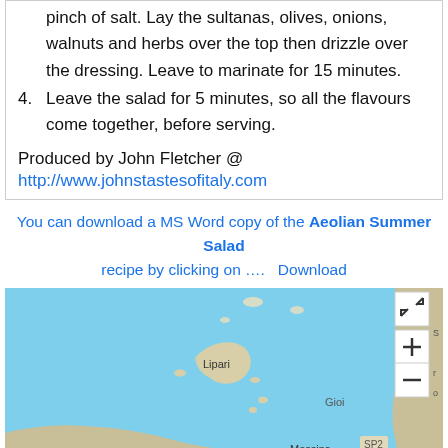pinch of salt. Lay the sultanas, olives, onions, walnuts and herbs over the top then drizzle over the dressing. Leave to marinate for 15 minutes.
4. Leave the salad for 5 minutes, so all the flavours come together, before serving.
Produced by John Fletcher @
http://www.johnstastesofitaly.com
You can download a MS Word copy of the Aeolian Summer Salad recipe by clicking on ….  Download
[Figure (map): Interactive map showing the Aeolian Islands area near Sicily, Italy. Shows Lipari island label, Messina label, Gioia label, SP2 road label. Has zoom controls (+/-) and expand button on the right side. Map background is light blue (sea) with land masses in beige/tan color.]